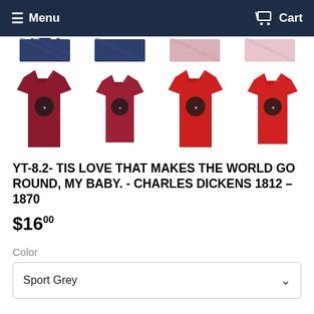Menu  Cart
[Figure (photo): Top strip of t-shirt product thumbnail images in navy and pink colors, partially visible]
[Figure (photo): Row of four t-shirt product images in crimson/red shades with small graphic print]
YT-8.2- TIS LOVE THAT MAKES THE WORLD GO ROUND, MY BABY. - CHARLES DICKENS 1812 – 1870
$16.00
Color
Sport Grey